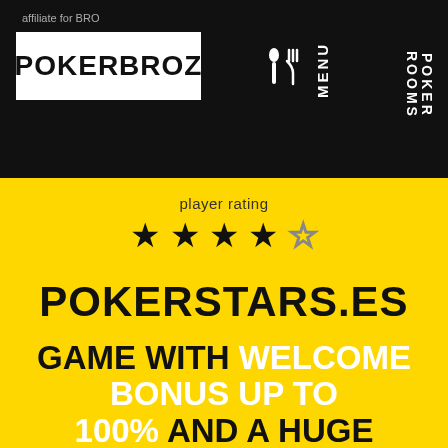affiliate for BRO
POKERBROZ
[Figure (logo): Menu icon with crossed fork and knife utensils in white]
MENU
POKER ROOMS
player rating
[Figure (infographic): 5-star rating showing 4 filled black stars and 1 empty/outline star]
POKERSTARS.ES
GAME WITH WELCOME BONUS UP TO 100% AND A HUGE SELECTION TYPES OF POKER